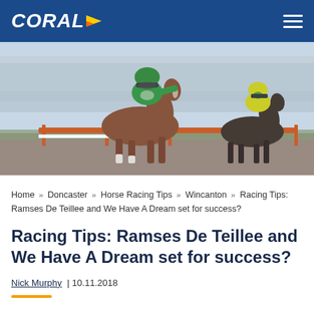CORAL
[Figure (photo): Horse racing photo showing a jockey in green silks on a chestnut horse jumping a hurdle, leading another horse and jockey in yellow/green silks, with a grandstand crowd in the background.]
Home » Doncaster » Horse Racing Tips » Wincanton » Racing Tips: Ramses De Teillee and We Have A Dream set for success?
Racing Tips: Ramses De Teillee and We Have A Dream set for success?
Nick Murphy | 10.11.2018